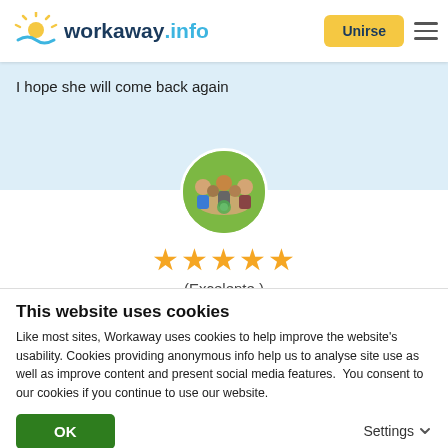workaway.info | Unirse
I hope she will come back again
[Figure (photo): Circular profile photo showing a group of people sitting around a table with food]
★★★★★ (Excelente )
21/08/2021
Dejado por el workawayer (candela) para el anfitrión
My experience in this beautiful Hostel has really been one
This website uses cookies
Like most sites, Workaway uses cookies to help improve the website's usability. Cookies providing anonymous info help us to analyse site use as well as improve content and present social media features.  You consent to our cookies if you continue to use our website.
OK
Settings